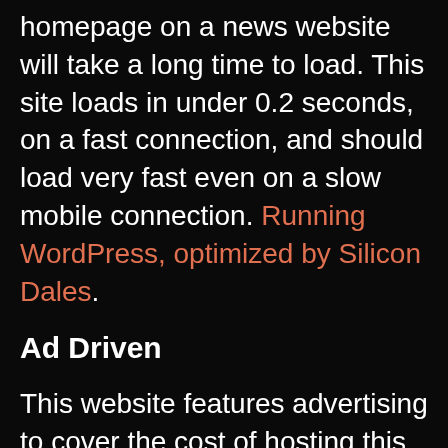homepage on a news website will take a long time to load. This site loads in under 0.2 seconds, on a fast connection, and should load very fast even on a slow mobile connection. Running WordPress, optimized by Silicon Dales.
Ad Driven
This website features advertising to cover the cost of hosting this powerful, fast-loading service. This advertising is managed by, and targeted through, Google Adsense.
Google, and this website, use cookies to store information about your activities. You